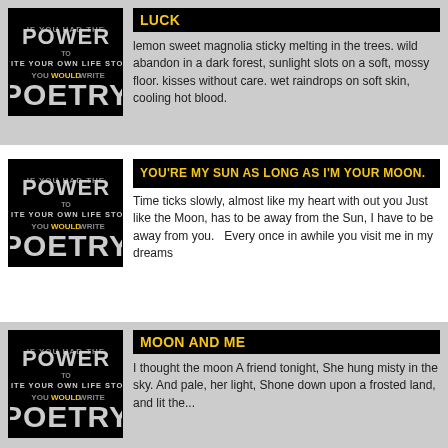[Figure (logo): Power of Poetry logo on black background - card 1]
LUCK
lemon sweet magnolia sticky melting in the trees. wild abandon in a dark forest, sunlight slots on a soft, mossy floor. kisses without care. wet raindrops on soft skin, cooling hot blood.
[Figure (logo): Power of Poetry logo on black background - card 2]
YOU'RE MY SUN AS LONG AS I'M YOUR MOON.
Time ticks slowly, almost like my heart with out you Just like the Moon, has to be away from the Sun, I have to be away from you.   Every once in awhile you visit me in my dreams
[Figure (logo): Power of Poetry logo on black background - card 3]
MOON AND ME
I thought the moon A friend tonight, She hung misty in the sky. And pale, her light, Shone down upon a frosted land, and lit the...